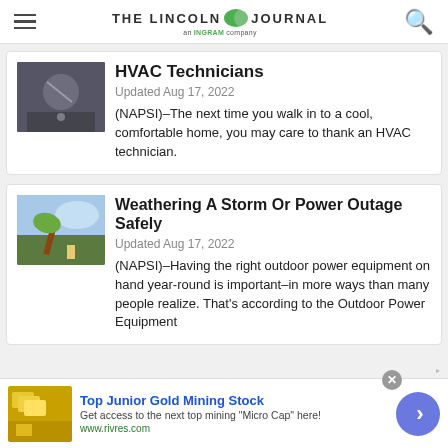THE LINCOLN JOURNAL an INGRAM company
HVAC Technicians
Updated Aug 17, 2022
(NAPSI)–The next time you walk in to a cool, comfortable home, you may care to thank an HVAC technician.
Weathering A Storm Or Power Outage Safely
Updated Aug 17, 2022
(NAPSI)–Having the right outdoor power equipment on hand year-round is important–in more ways than many people realize. That's according to the Outdoor Power Equipment
Top Junior Gold Mining Stock
Get access to the next top mining "Micro Cap" here!
www.rivres.com